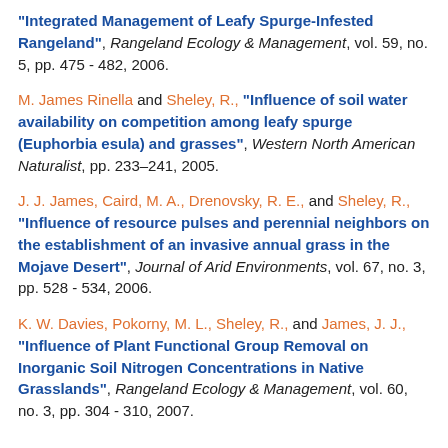"Integrated Management of Leafy Spurge-Infested Rangeland", Rangeland Ecology & Management, vol. 59, no. 5, pp. 475 - 482, 2006.
M. James Rinella and Sheley, R., "Influence of soil water availability on competition among leafy spurge (Euphorbia esula) and grasses", Western North American Naturalist, pp. 233–241, 2005.
J. J. James, Caird, M. A., Drenovsky, R. E., and Sheley, R., "Influence of resource pulses and perennial neighbors on the establishment of an invasive annual grass in the Mojave Desert", Journal of Arid Environments, vol. 67, no. 3, pp. 528 - 534, 2006.
K. W. Davies, Pokorny, M. L., Sheley, R., and James, J. J., "Influence of Plant Functional Group Removal on Inorganic Soil Nitrogen Concentrations in Native Grasslands", Rangeland Ecology & Management, vol. 60, no. 3, pp. 304 - 310, 2007.